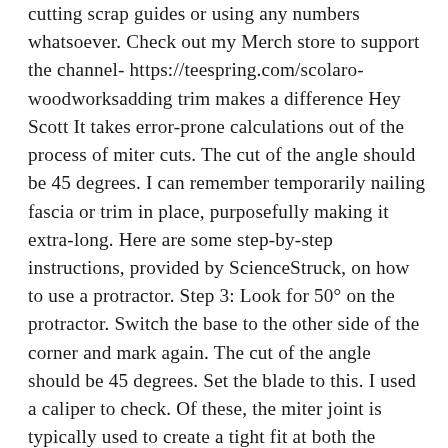cutting scrap guides or using any numbers whatsoever. Check out my Merch store to support the channel- https://teespring.com/scolaro-woodworksadding trim makes a difference Hey Scott It takes error-prone calculations out of the process of miter cuts. The cut of the angle should be 45 degrees. I can remember temporarily nailing fascia or trim in place, purposefully making it extra-long. Here are some step-by-step instructions, provided by ScienceStruck, on how to use a protractor. Step 3: Look for 50° on the protractor. Switch the base to the other side of the corner and mark again. The cut of the angle should be 45 degrees. Set the blade to this. I used a caliper to check. Of these, the miter joint is typically used to create a tight fit at both the inside and outside corners where two walls meet. It's easier, however, to measure the angle when one side of it is on the zero line. A 'special' miter saw protractor—like the Starrett ProSite—is the answer for a mathematically challenged carpenter like myself. Take a scribe or compass and draw an arc from the angle's vertex (point of origin) This will be at the very edge of the board — the arc can be small or large,